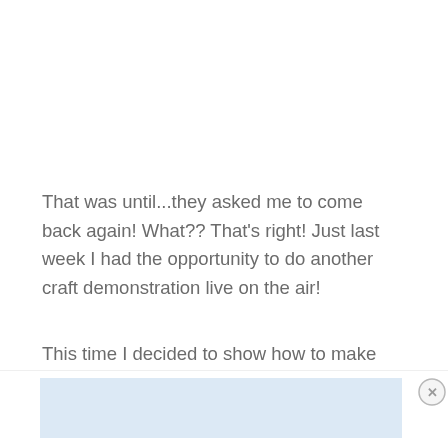That was until...they asked me to come back again! What?? That's right! Just last week I had the opportunity to do another craft demonstration live on the air!
This time I decided to show how to make these fun and easy Valentine's Day Poppers.
[Figure (other): Advertisement banner with light blue background and a close (X) button]